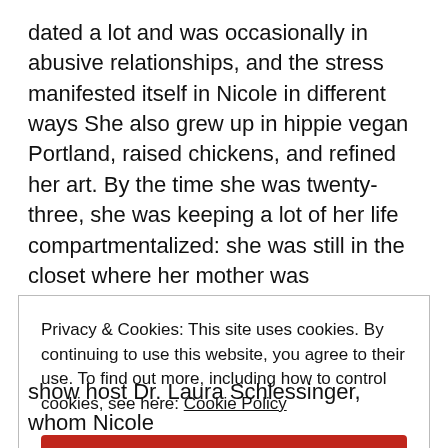dated a lot and was occasionally in abusive relationships, and the stress manifested itself in Nicole in different ways She also grew up in hippie vegan Portland, raised chickens, and refined her art. By the time she was twenty-three, she was keeping a lot of her life compartmentalized: she was still in the closet where her mother was concerned, didn't know how to broach the subject of her father with the rest of her family, and was
Privacy & Cookies: This site uses cookies. By continuing to use this website, you agree to their use. To find out more, including how to control cookies, see here: Cookie Policy
Close and accept
show host Dr. Laura Schlessinger, whom Nicole